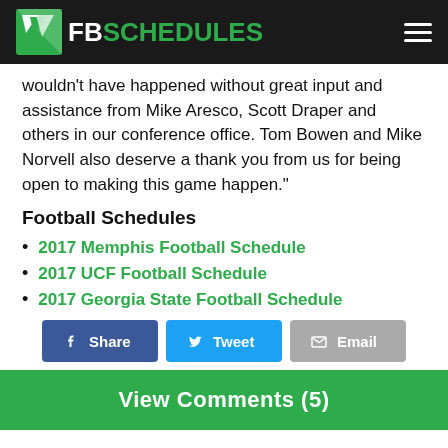FBSCHEDULES
wouldn't have happened without great input and assistance from Mike Aresco, Scott Draper and others in our conference office. Tom Bowen and Mike Norvell also deserve a thank you from us for being open to making this game happen."
Football Schedules
2017 Memphis Football Schedule
2017 UCF Football Schedule
2017 Georgia State Football Schedule
Share | Tweet | Email
View Comments (5)